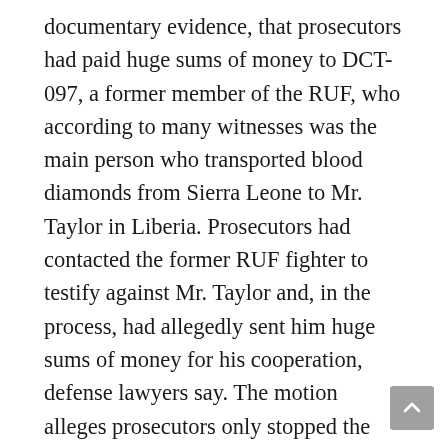documentary evidence, that prosecutors had paid huge sums of money to DCT-097, a former member of the RUF, who according to many witnesses was the main person who transported blood diamonds from Sierra Leone to Mr. Taylor in Liberia. Prosecutors had contacted the former RUF fighter to testify against Mr. Taylor and, in the process, had allegedly sent him huge sums of money for his cooperation, defense lawyers say. The motion alleges prosecutors only stopped the payments to the RUF fighter when he could not tell them what they wanted to hear.
Now a potential defense witness who was scheduled to testify for Mr. Taylor, the RUF